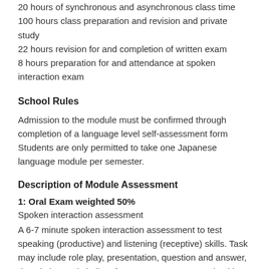20 hours of synchronous and asynchronous class time
100 hours class preparation and revision and private study
22 hours revision for and completion of written exam
8 hours preparation for and attendance at spoken interaction exam
School Rules
Admission to the module must be confirmed through completion of a language level self-assessment form Students are only permitted to take one Japanese language module per semester.
Description of Module Assessment
1: Oral Exam weighted 50%
Spoken interaction assessment
A 6-7 minute spoken interaction assessment to test speaking (productive) and listening (receptive) skills. Task may include role play, presentation, question and answer, description and similar. If assessments are organised in pairs or groups individual marks will be awarded to each student and the total time allowed will be 5-6 minutes per student.